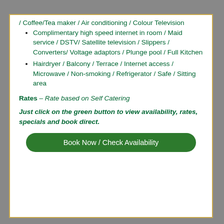/ Coffee/Tea maker / Air conditioning / Colour Television
Complimentary high speed internet in room / Maid service / DSTV/ Satellite television / Slippers / Converters/ Voltage adaptors / Plunge pool / Full Kitchen
Hairdryer / Balcony / Terrace / Internet access / Microwave / Non-smoking / Refrigerator / Safe / Sitting area
Rates – Rate based on Self Catering
Just click on the green button to view availability, rates, specials and book direct.
Book Now / Check Availability